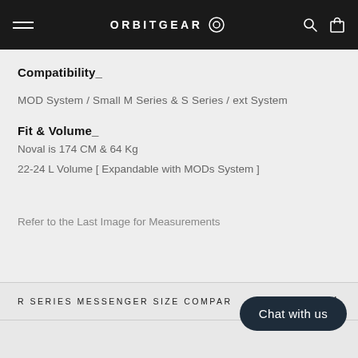ORBITGEAR
Compatibility_
MOD System / Small M Series & S Series / ext System
Fit & Volume_
Noval is 174 CM & 64 Kg
22-24 L Volume [ Expandable with MODs System ]
Refer to the Last Image for Measurements
R SERIES MESSENGER SIZE COMPAR